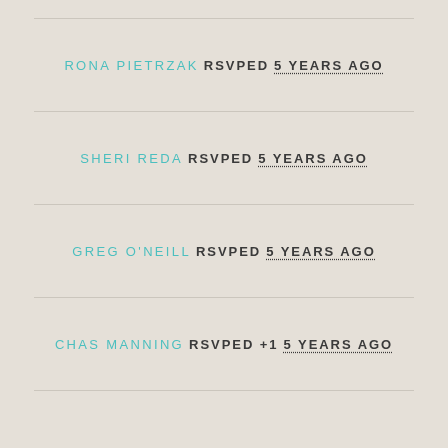RONA PIETRZAK RSVPED 5 YEARS AGO
SHERI REDA RSVPED 5 YEARS AGO
GREG O'NEILL RSVPED 5 YEARS AGO
CHAS MANNING RSVPED +1 5 YEARS AGO